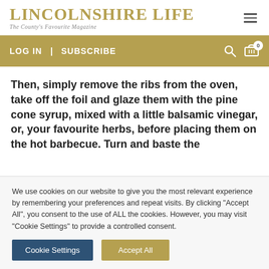LINCOLNSHIRE LIFE — The County's Favourite Magazine
LOG IN | SUBSCRIBE
Then, simply remove the ribs from the oven, take off the foil and glaze them with the pine cone syrup, mixed with a little balsamic vinegar, or, your favourite herbs, before placing them on the hot barbecue. Turn and baste the
We use cookies on our website to give you the most relevant experience by remembering your preferences and repeat visits. By clicking "Accept All", you consent to the use of ALL the cookies. However, you may visit "Cookie Settings" to provide a controlled consent.
Cookie Settings   Accept All